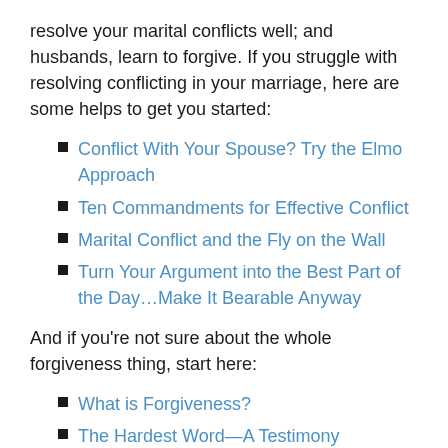resolve your marital conflicts well; and husbands, learn to forgive. If you struggle with resolving conflicting in your marriage, here are some helps to get you started:
Conflict With Your Spouse? Try the Elmo Approach
Ten Commandments for Effective Conflict
Marital Conflict and the Fly on the Wall
Turn Your Argument into the Best Part of the Day…Make It Bearable Anyway
And if you're not sure about the whole forgiveness thing, start here:
What is Forgiveness?
The Hardest Word—A Testimony
Before You Apologize, Consider This